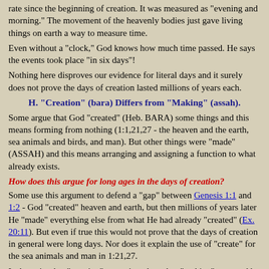rate since the beginning of creation. It was measured as "evening and morning." The movement of the heavenly bodies just gave living things on earth a way to measure time.
Even without a "clock," God knows how much time passed. He says the events took place "in six days"!
Nothing here disproves our evidence for literal days and it surely does not prove the days of creation lasted millions of years each.
H. "Creation" (bara) Differs from "Making" (assah).
Some argue that God "created" (Heb. BARA) some things and this means forming from nothing (1:1,21,27 - the heaven and the earth, sea animals and birds, and man). But other things were "made" (ASSAH) and this means arranging and assigning a function to what already exists.
How does this argue for long ages in the days of creation?
Some use this argument to defend a "gap" between Genesis 1:1 and 1:2 - God "created" heaven and earth, but then millions of years later He "made" everything else from what He had already "created" (Ex. 20:11). But even if true this would not prove that the days of creation in general were long days. Nor does it explain the use of "create" for the sea animals and man in 1:21,27.
Is the point that "creating" was miraculous, but "making" occurred by natural law so it would take long periods to accomplish? If this is not the point, then the argument proves nothing for long ages.